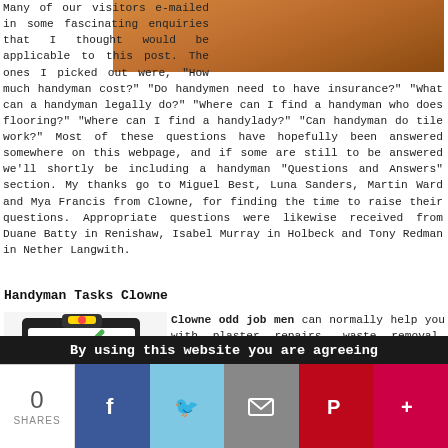[Figure (photo): Orange/brown colored decorative image at top right, partially visible]
Many of our visitors e-mailed in some fascinating enquiries that I thought would be applicable to this post. The ones I picked out were, "How much handyman cost?" "Do handymen need to have insurance?" "What can a handyman legally do?" "Where can I find a handyman who does flooring?" "Where can I find a handylady?" "Can handyman do tile work?" Most of these questions have hopefully been answered somewhere on this webpage, and if some are still to be answered we'll shortly be including a handyman "Questions and Answers" section. My thanks go to Miguel Best, Luna Sanders, Martin Ward and Mya Francis from Clowne, for finding the time to raise their questions. Appropriate questions were likewise received from Duane Batty in Renishaw, Isabel Murray in Holbeck and Tony Redman in Nether Langwith.
Handyman Tasks Clowne
[Figure (illustration): Clipboard with checklist and green checkmark illustration]
Clowne odd job men can normally help you with plaster repairs, waste removal, fireplace removal, roof repairs, sink
By using this website you are agreeing
0 SHARES | Facebook | Twitter | Email | Pinterest | More